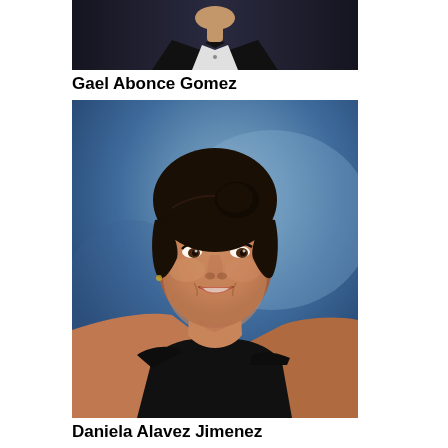[Figure (photo): Top portion of a student portrait showing a person in a dark tuxedo/suit against a dark background — only lower portion of face and chest visible, cropped at top of page]
Gael Abonce Gomez
[Figure (photo): Senior portrait of Daniela Alavez Jimenez, a young woman with dark hair pulled up, wearing an off-the-shoulder black top, photographed against a blue studio background]
Daniela Alavez Jimenez